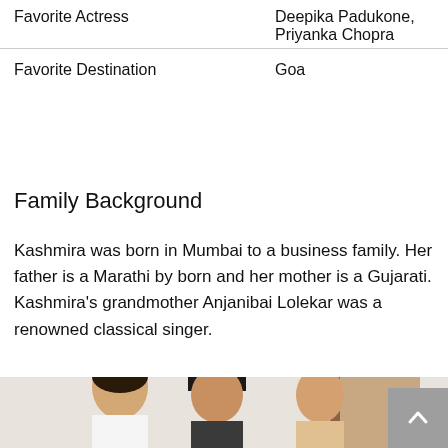|  |  |
| --- | --- |
| Favorite Actress | Deepika Padukone, Priyanka Chopra |
| Favorite Destination | Goa |
Family Background
Kashmira was born in Mumbai to a business family. Her father is a Marathi by born and her mother is a Gujarati. Kashmira's grandmother Anjanibai Lolekar was a renowned classical singer.
[Figure (photo): A group photo of three people, two men and a woman, in a room with a door visible in the background. The leftmost man has dark hair, the middle person wears a black hat, and the rightmost is partially visible.]